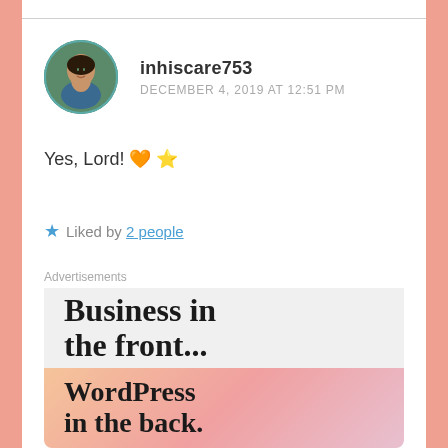inhiscare753 — DECEMBER 4, 2019 AT 12:51 PM
Yes, Lord! 🧡 ⭐
★ Liked by 2 people
Advertisements
[Figure (illustration): WordPress advertisement: 'Business in the front... WordPress in the back.' on a gradient peach/pink background with circular blobs.]